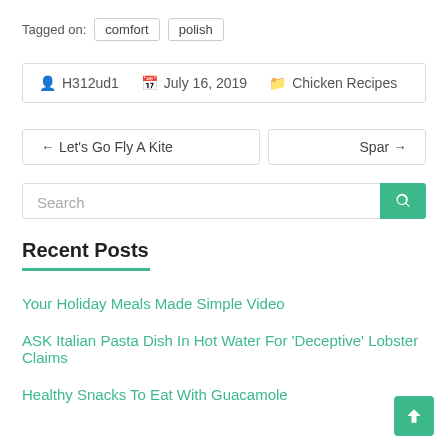Tagged on:  comfort  polish
H312ud1   July 16, 2019   Chicken Recipes
← Let's Go Fly A Kite
Spar →
Search
Recent Posts
Your Holiday Meals Made Simple Video
ASK Italian Pasta Dish In Hot Water For 'Deceptive' Lobster Claims
Healthy Snacks To Eat With Guacamole